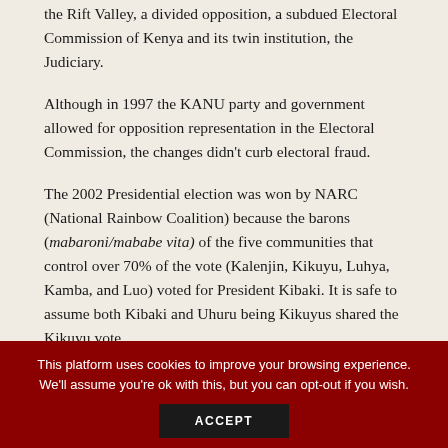the Rift Valley, a divided opposition, a subdued Electoral Commission of Kenya and its twin institution, the Judiciary.
Although in 1997 the KANU party and government allowed for opposition representation in the Electoral Commission, the changes didn't curb electoral fraud.
The 2002 Presidential election was won by NARC (National Rainbow Coalition) because the barons (mabaroni/mababe vita) of the five communities that control over 70% of the vote (Kalenjin, Kikuyu, Luhya, Kamba, and Luo) voted for President Kibaki. It is safe to assume both Kibaki and Uhuru being Kikuyus shared the Kikuyu vote.
This platform uses cookies to improve your browsing experience. We'll assume you're ok with this, but you can opt-out if you wish.
ACCEPT